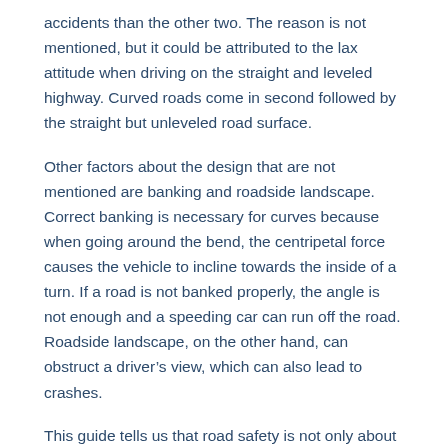accidents than the other two. The reason is not mentioned, but it could be attributed to the lax attitude when driving on the straight and leveled highway. Curved roads come in second followed by the straight but unleveled road surface.
Other factors about the design that are not mentioned are banking and roadside landscape. Correct banking is necessary for curves because when going around the bend, the centripetal force causes the vehicle to incline towards the inside of a turn. If a road is not banked properly, the angle is not enough and a speeding car can run off the road. Roadside landscape, on the other hand, can obstruct a driver's view, which can also lead to crashes.
This guide tells us that road safety is not only about a driver's skill and presence of mind. Other factors, such as road design, also play a role. That said, it's important for everyone to make sure the roads are properly designed and maintained. Only experts should be allowed to work on it.